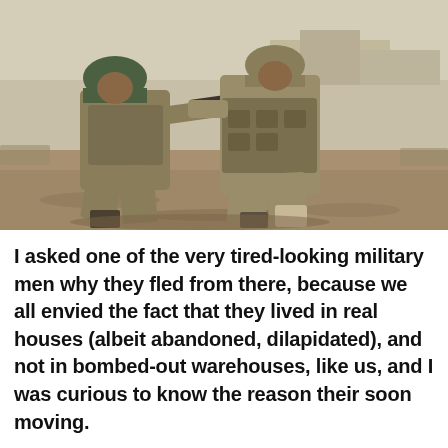[Figure (photo): Two soldiers in camouflage military gear kneeling on dry sandy ground. The soldier on the left wears a green camouflage helmet and is aiming a rifle. The soldier on the right wears tan tactical gear with full combat equipment. Background shows a dusty arid environment with buildings visible in the distance.]
I asked one of the very tired-looking military men why they fled from there, because we all envied the fact that they lived in real houses (albeit abandoned, dilapidated), and not in bombed-out warehouses, like us, and I was curious to know the reason their soon moving.